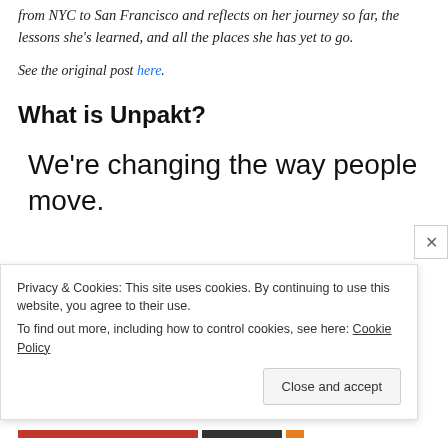from NYC to San Francisco and reflects on her journey so far, the lessons she’s learned, and all the places she has yet to go.
See the original post here.
What is Unpakt?
We’re changing the way people move.
Privacy & Cookies: This site uses cookies. By continuing to use this website, you agree to their use.
To find out more, including how to control cookies, see here: Cookie Policy
Close and accept